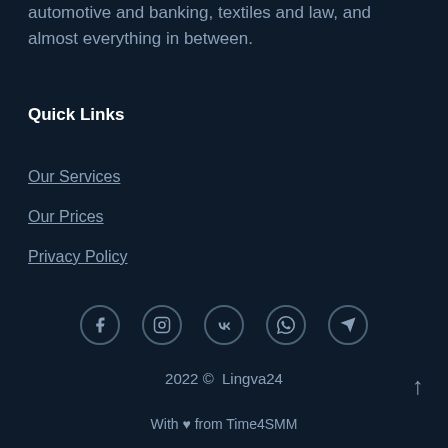world. In a wide variety of sectors, such as automotive and banking, textiles and law, and almost everything in between.
Quick Links
Our Services
Our Prices
Privacy Policy
[Figure (other): Row of 5 social media icons: Facebook, Instagram, VK, WhatsApp, Telegram]
2022 ©  Lingva24
With ♥ from Time4SMM